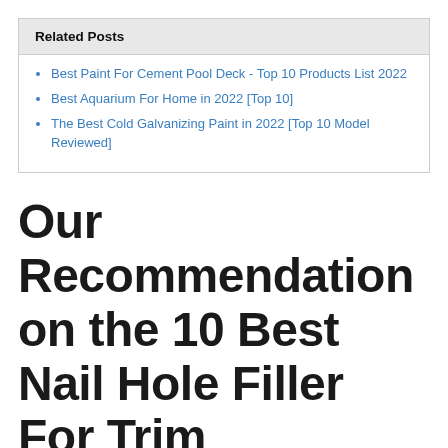Related Posts
Best Paint For Cement Pool Deck - Top 10 Products List 2022
Best Aquarium For Home in 2022 [Top 10]
The Best Cold Galvanizing Paint in 2022 [Top 10 Model Reviewed]
Our Recommendation on the 10 Best Nail Hole Filler For Trim
1. Nail Hole Patch, 5.3